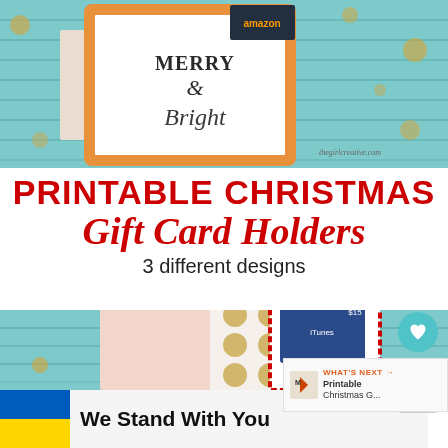[Figure (photo): Photo of Christmas gift card holders on a teal wooden background with gold polka dot confetti and Christmas cards including one saying Merry and Bright]
PRINTABLE CHRISTMAS Gift Card Holders 3 different designs
[Figure (photo): Photo of a red chevron-bordered gift card holder with an iTunes $15 gift card on a teal wooden background, with UI overlays showing heart button (524 saves), share button, and Whats Next panel for Printable Christmas G...]
We Stand With You